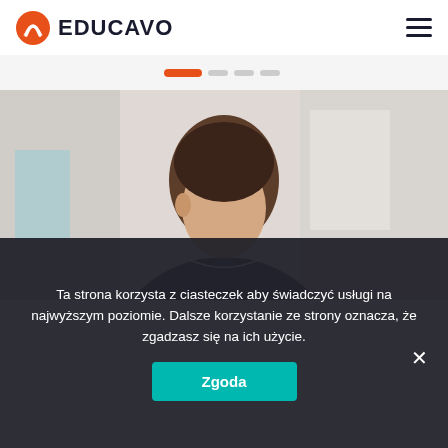[Figure (logo): Educavo logo with orange circular icon and dark text 'EDUCAVO']
[Figure (other): Slider navigation dots — one larger orange active dot and three smaller grey dots]
[Figure (photo): Photo of a person (woman with dark hair pulled back) looking down, in a light interior setting]
Ta strona korzysta z ciasteczek aby świadczyć usługi na najwyższym poziomie. Dalsze korzystanie ze strony oznacza, że zgadzasz się na ich użycie.
Zgoda